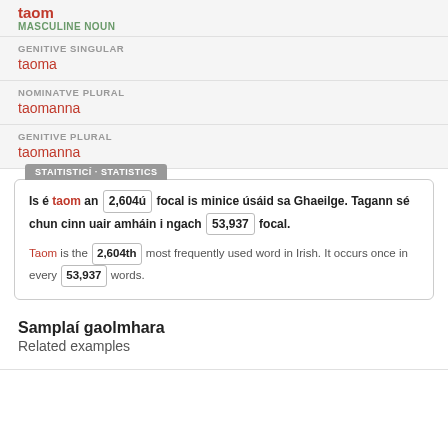taom
MASCULINE NOUN
GENITIVE SINGULAR
taoma
NOMINATVE PLURAL
taomanna
GENITIVE PLURAL
taomanna
STAITISTICÍ - STATISTICS
Is é taom an 2,604ú focal is minice úsáid sa Ghaeilge. Tagann sé chun cinn uair amháin i ngach 53,937 focal.
Taom is the 2,604th most frequently used word in Irish. It occurs once in every 53,937 words.
Samplaí gaolmhara
Related examples